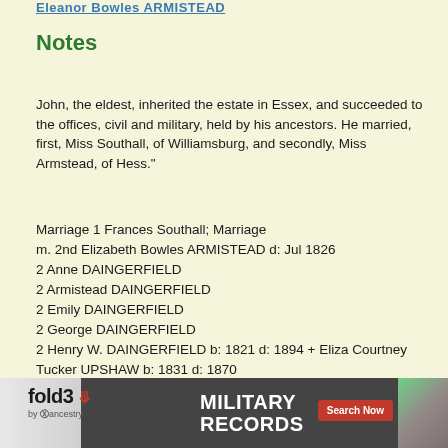Family 2 / Eleanor Bowles ARMISTEAD
Notes
John, the eldest, inherited the estate in Essex, and succeeded to the offices, civil and military, held by his ancestors. He married, first, Miss Southall, of Williamsburg, and secondly, Miss Armstead, of Hess."
Marriage 1 Frances Southall; Marriage m. 2nd Elizabeth Bowles ARMISTEAD d: Jul 1826
2 Anne DAINGERFIELD
2 Armistead DAINGERFIELD
2 Emily DAINGERFIELD
2 George DAINGERFIELD
2 Henry W. DAINGERFIELD b: 1821 d: 1894 + Eliza Courtney Tucker UPSHAW b: 1831 d: 1870
2 Lucy DAINGERFIELD
2 William DAINGERFIELD [S2874]
[Figure (screenshot): Fold3 by Ancestry advertisement banner for Military Records with Search Now button]